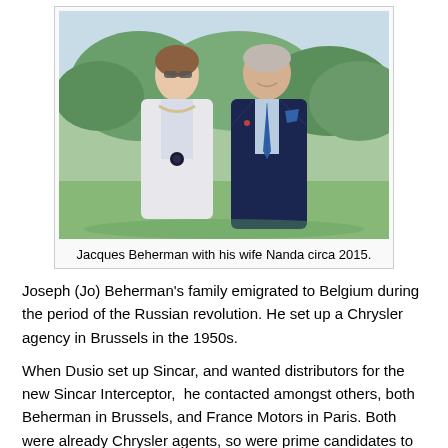[Figure (photo): Jacques Beherman and his wife Nanda standing together outdoors, circa 2015. Woman on left wearing white jacket and pearl necklace with sunglasses; man on right in dark navy suit with blue tie.]
Jacques Beherman with his wife Nanda circa 2015.
Joseph (Jo) Beherman's family emigrated to Belgium during the period of the Russian revolution. He set up a Chrysler agency in Brussels in the 1950s.
When Dusio set up Sincar, and wanted distributors for the new Sincar Interceptor,  he contacted amongst others, both Beherman in Brussels, and France Motors in Paris. Both were already Chrysler agents, so were prime candidates to take on the Chrysler-engined